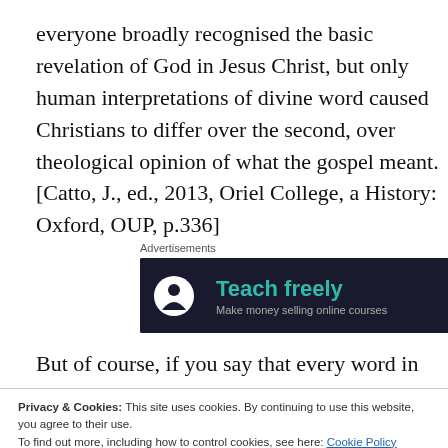everyone broadly recognised the basic revelation of God in Jesus Christ, but only human interpretations of divine word caused Christians to differ over the second, over theological opinion of what the gospel meant. [Catto, J., ed., 2013, Oriel College, a History: Oxford, OUP, p.336]
Advertisements
[Figure (other): Advertisement banner with dark background showing a tree/person icon and text 'Teach freely' in teal, with subtitle 'Make money selling online courses']
But of course, if you say that every word in the Bible is literally true, then there are all sorts of difficulties. You may
Privacy & Cookies: This site uses cookies. By continuing to use this website, you agree to their use. To find out more, including how to control cookies, see here: Cookie Policy
Close and accept